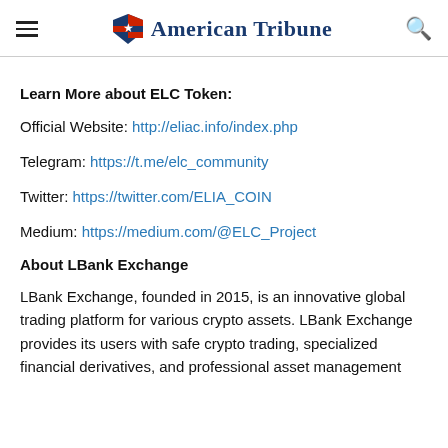American Tribune
Learn More about ELC Token:
Official Website: http://eliac.info/index.php
Telegram: https://t.me/elc_community
Twitter: https://twitter.com/ELIA_COIN
Medium: https://medium.com/@ELC_Project
About LBank Exchange
LBank Exchange, founded in 2015, is an innovative global trading platform for various crypto assets. LBank Exchange provides its users with safe crypto trading, specialized financial derivatives, and professional asset management